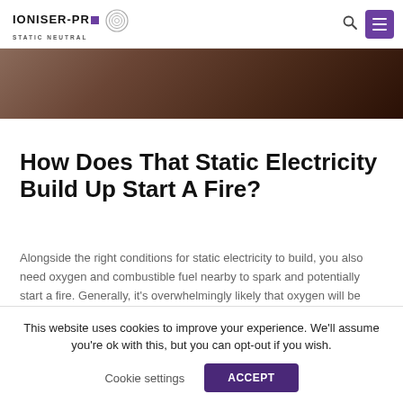IONISER-PRO STATIC NEUTRAL
[Figure (photo): Dark blurred hero image showing a close-up of hands or materials, brownish tones]
How Does That Static Electricity Build Up Start A Fire?
Alongside the right conditions for static electricity to build, you also need oxygen and combustible fuel nearby to spark and potentially start a fire. Generally, it's overwhelmingly likely that oxygen will be present in the air, and the fuel could be something as small as dust, fumes, vapours, or flammable
This website uses cookies to improve your experience. We'll assume you're ok with this, but you can opt-out if you wish. Cookie settings ACCEPT